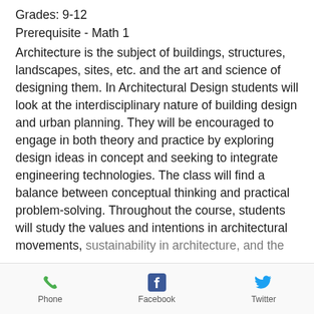Grades: 9-12
Prerequisite - Math 1
Architecture is the subject of buildings, structures, landscapes, sites, etc. and the art and science of designing them. In Architectural Design students will look at the interdisciplinary nature of building design and urban planning. They will be encouraged to engage in both theory and practice by exploring design ideas in concept and seeking to integrate engineering technologies. The class will find a balance between conceptual thinking and practical problem-solving. Throughout the course, students will study the values and intentions in architectural movements, sustainability in architecture, and the
Phone  Facebook  Twitter